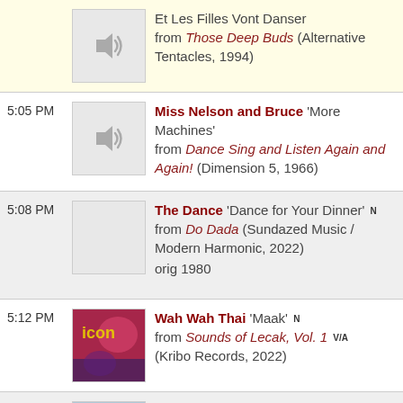Et Les Filles Vont Danser from Those Deep Buds (Alternative Tentacles, 1994)
5:05 PM Miss Nelson and Bruce 'More Machines' from Dance Sing and Listen Again and Again! (Dimension 5, 1966)
5:08 PM The Dance 'Dance for Your Dinner' N from Do Dada (Sundazed Music / Modern Harmonic, 2022) orig 1980
5:12 PM Wah Wah Thai 'Maak' N from Sounds of Lecak, Vol. 1 V/A (Kribo Records, 2022)
5:17 PM Green/Blue 'Gold' N from Paper Thin (Feel It Records, 2022)